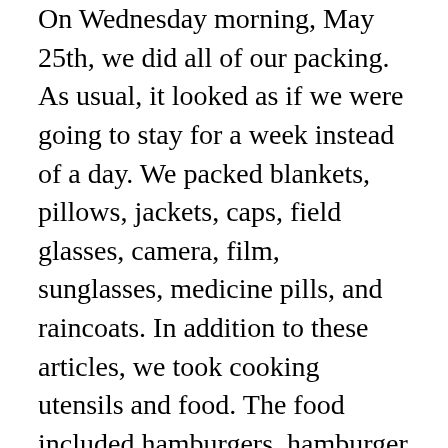On Wednesday morning, May 25th, we did all of our packing. As usual, it looked as if we were going to stay for a week instead of a day. We packed blankets, pillows, jackets, caps, field glasses, camera, film, sunglasses, medicine pills, and raincoats. In addition to these articles, we took cooking utensils and food. The food included hamburgers, hamburger buns, mustard, ketchup, bananas, fruit salad, apples, cup cakes, potato chips, deviled eggs, pears, eggs, bacon, coffee, milk and water, plus a few other items I may have forgotten. Our utensils included knives, forks, spoons, plates, glasses, napkins, plus liquid soap and a washrag for washing the dishes. The most outstanding utensil was a new